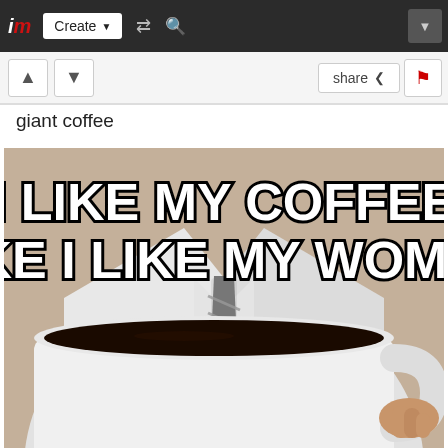im  Create  giant coffee
giant coffee
[Figure (photo): Meme image showing a person in a white shirt and striped tie holding an oversized white coffee mug filled with black coffee. Large bold white text with black outline reads: I LIKE MY COFFEE LIKE I LIKE MY WOMEN]